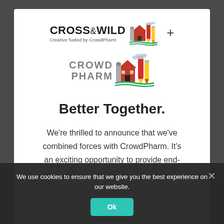[Figure (logo): Cross & Wild logo with farm/pencil illustration and tagline 'Creative fueled by CrowdPharm', plus sign, and CrowdPharm logo with farm/pencil illustration below]
Better Together.
We're thrilled to announce that we've combined forces with CrowdPharm. It's an exciting opportunity to provide end- that deliver unprecedented value and that deliver...
We use cookies to ensure that we give you the best experience on our website.